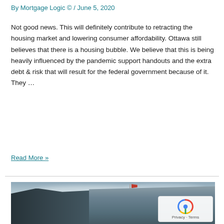By Mortgage Logic © / June 5, 2020
Not good news. This will definitely contribute to retracting the housing market and lowering consumer affordability. Ottawa still believes that there is a housing bubble. We believe that this is being heavily influenced by the pandemic support handouts and the extra debt & risk that will result for the federal government because of it. They …
Read More »
[Figure (photo): Upward-angle photograph of two buildings against a cloudy sky: a modern glass office tower on the left and a classical government/institutional building with columns on the right, Canadian flag visible on a flagpole in the centre. A reCAPTCHA privacy widget appears in the bottom-right corner showing 'Privacy · Terms'.]